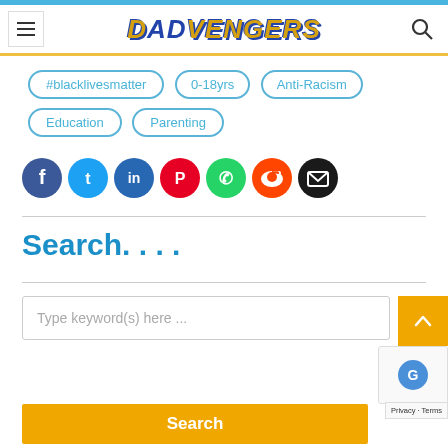DADVENGERS
#blacklivesmatter
0-18yrs
Anti-Racism
Education
Parenting
[Figure (infographic): Social share icons: Facebook, Twitter, LinkedIn, Pinterest, WhatsApp, Reddit, Email]
Search. . . .
Type keyword(s) here ...
Search